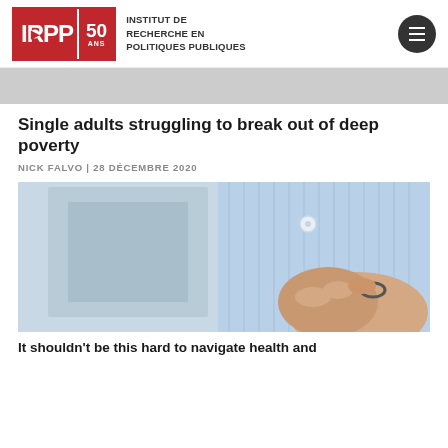IRPP 50 ANS — INSTITUT DE RECHERCHE EN POLITIQUES PUBLIQUES
[Figure (other): Gray banner below site header]
Single adults struggling to break out of deep poverty
NICK FALVO | 28 DÉCEMBRE 2020
[Figure (photo): Close-up photo of a person in a light blue striped shirt buttoning a button, hand visible in foreground against a light background]
It shouldn't be this hard to navigate health and